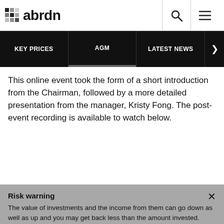abrdn
KEY PRICES | AGM | LATEST NEWS
This online event took the form of a short introduction from the Chairman, followed by a more detailed presentation from the manager, Kristy Fong. The post-event recording is available to watch below.
Risk warning
The value of investments and the income from them can go down as well as up and you may get back less than the amount invested. Please refer to the relevant Key Information Document (KID) prior to making an investment decision. Please be aware of scams that can affect investors.